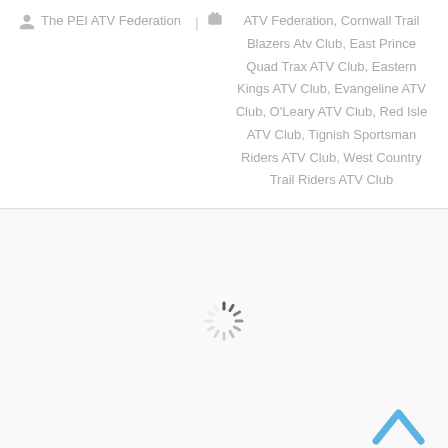The PEI ATV Federation | ATV Federation, Cornwall Trail Blazers Atv Club, East Prince Quad Trax ATV Club, Eastern Kings ATV Club, Evangeline ATV Club, O'Leary ATV Club, Red Isle ATV Club, Tignish Sportsman Riders ATV Club, West Country Trail Riders ATV Club
[Figure (other): Loading spinner (circular dashed loading indicator) centered in a white/light gray content area, with a scroll-to-top arrow chevron icon in the bottom right corner.]